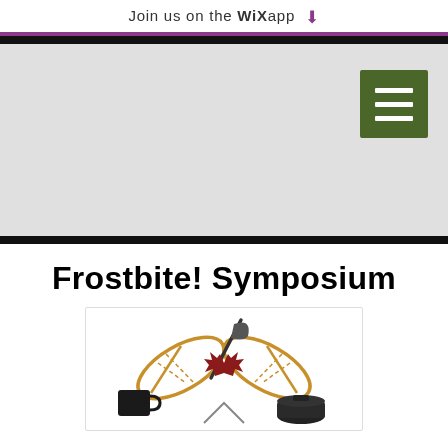Join us on the WiX app ⬇
[Figure (screenshot): Mobile website navigation header area with grey background and green hamburger menu button in top right corner]
Frostbite! Symposium
[Figure (illustration): Frostbite Symposium logo featuring crossed snowshoes, an axe, a red maple leaf, a black mug, a black Dutch oven/pot, and a tent, all arranged in a circular emblem style]